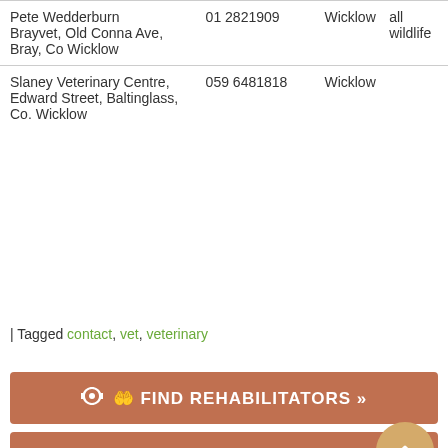| Name/Address | Phone | County | Species |
| --- | --- | --- | --- |
| Pete Wedderburn
Brayvet, Old Conna Ave, Bray, Co Wicklow | 01 2821909 | Wicklow | all wildlife |
| Slaney Veterinary Centre, Edward Street, Baltinglass, Co. Wicklow | 059 6481818 | Wicklow |  |
| Tagged contact, vet, veterinary
[Figure (other): Button: FIND REHABILITATORS »]
[Figure (other): Button: DONATE »]
Found an animal?